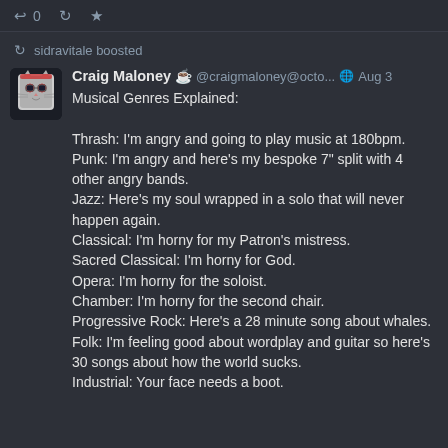0 [retweet] [star]
sidravitale boosted
Craig Maloney ☕ @craigmaloney@octo... Aug 3
Musical Genres Explained:

Thrash: I'm angry and going to play music at 180bpm.
Punk: I'm angry and here's my bespoke 7" split with 4 other angry bands.
Jazz: Here's my soul wrapped in a solo that will never happen again.
Classical: I'm horny for my Patron's mistress.
Sacred Classical: I'm horny for God.
Opera: I'm horny for the soloist.
Chamber: I'm horny for the second chair.
Progressive Rock: Here's a 28 minute song about whales.
Folk: I'm feeling good about wordplay and guitar so here's 30 songs about how the world sucks.
Industrial: Your face needs a boot.